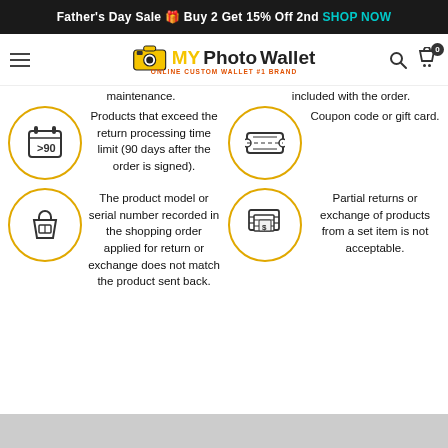Father's Day Sale Buy 2 Get 15% Off 2nd SHOP NOW
[Figure (logo): MY PhotoWallet ONLINE CUSTOM WALLET #1 BRAND logo with navigation icons]
maintenance.
included with the order.
[Figure (illustration): Circle icon with calendar showing >90]
Products that exceed the return processing time limit (90 days after the order is signed).
[Figure (illustration): Circle icon with coupon/ticket]
Coupon code or gift card.
[Figure (illustration): Circle icon with shopping bag]
The product model or serial number recorded in the shopping order applied for return or exchange does not match the product sent back.
[Figure (illustration): Circle icon with money/bills]
Partial returns or exchange of products from a set item is not acceptable.